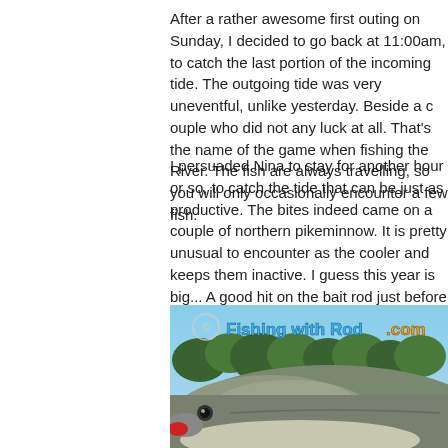After a rather awesome first outing on Sunday, I decided to go back at 11:00am, to catch the last portion of the incoming tide. The outgoing tide was very uneventful, unlike yesterday. Beside a couple who did not any luck at all. That's the name of the game when fishing the River. The fish are always travelling, so you will only occasionally encounter a few fish.
I persuaded Nina to stay for another hour or so, to catch the tide that can be just as productive. The bites indeed came on a couple of northern pikeminnow. It is pretty unusual to encounter as the cooler water cooler and keeps them inactive. I guess this year is bi... good hit on the bait rod just before 4:00pm. I retrieved... settled, when I tightened the line, another good take o... hook well and in came a good sized coho jack. Our fri... fin so freedom was granted after a couple of photogra...
[Figure (photo): Photo of a coho salmon being held, with watermark 'Fishing with Rod.com' overlaid in the top-left corner. Blue sky and trees visible in background.]